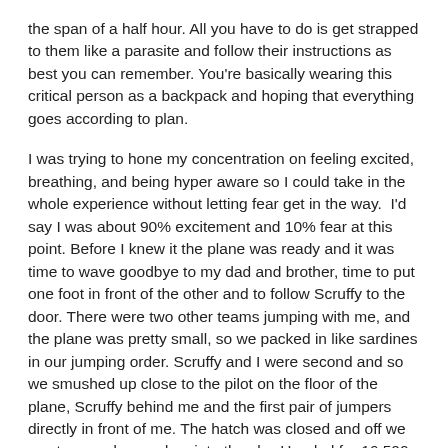the span of a half hour. All you have to do is get strapped to them like a parasite and follow their instructions as best you can remember. You're basically wearing this critical person as a backpack and hoping that everything goes according to plan.
I was trying to hone my concentration on feeling excited, breathing, and being hyper aware so I could take in the whole experience without letting fear get in the way.  I'd say I was about 90% excitement and 10% fear at this point. Before I knew it the plane was ready and it was time to wave goodbye to my dad and brother, time to put one foot in front of the other and to follow Scruffy to the door. There were two other teams jumping with me, and the plane was pretty small, so we packed in like sardines in our jumping order. Scruffy and I were second and so we smushed up close to the pilot on the floor of the plane, Scruffy behind me and the first pair of jumpers directly in front of me. The hatch was closed and off we went, up and up and up into the sky. Headed for 16 500 ft.